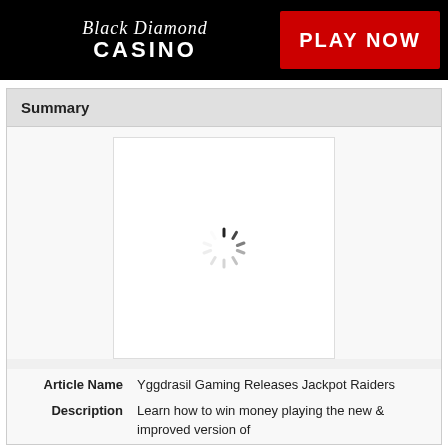[Figure (logo): Black Diamond Casino banner with logo on black background and red PLAY NOW button]
Summary
[Figure (other): Loading spinner (circular dashes) on white background placeholder image area]
Article Name   Yggdrasil Gaming Releases Jackpot Raiders
Description   Learn how to win money playing the new & improved version of